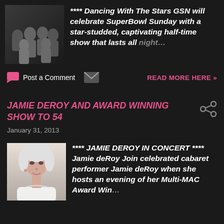[Figure (photo): Group photo of TV show cast members against dark background]
**** Dancing With The Stars GSN will celebrate SuperBowl Sunday with a star-studded, captivating half-time show that lasts all night...
Post a Comment
READ MORE HERE »
JAMIE DEROY AND AWARD WINNING SHOW TO 54
January 31, 2013
[Figure (photo): Portrait photo of Jamie deRoy, a woman with white/silver hair]
**** JAMIE DEROY IN CONCERT **** Jamie deRoy Join celebrated cabaret performer Jamie deRoy when she hosts an evening of her Multi-MAC Award Win...